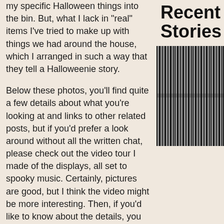my specific Halloween things into the bin. But, what I lack in "real" items I've tried to make up with things we had around the house, which I arranged in such a way that they tell a Halloweenie story.
Recent Stories
[Figure (other): Barcode image — black vertical lines of varying thickness on white background]
Below these photos, you'll find quite a few details about what you're looking at and links to other related posts, but if you'd prefer a look around without all the written chat, please check out the video tour I made of the displays, all set to spooky music. Certainly, pictures are good, but I think the video might be more interesting. Then, if you'd like to know about the details, you can find them written down below. Thank you in advance, if you do watch the video